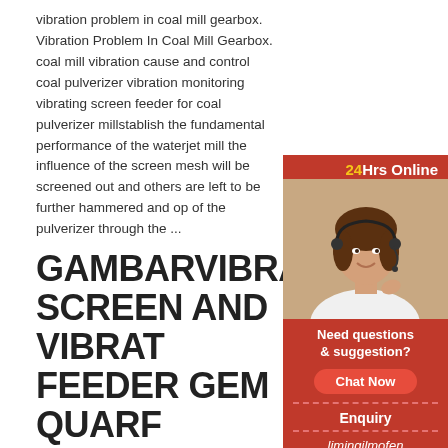vibration problem in coal mill gearbox. Vibration Problem In Coal Mill Gearbox. coal mill vibration cause and control coal pulverizer vibration monitoring vibrating screen feeder for coal pulverizer millstablish the fundamental performance of the waterjet mill the influence of the screen mesh will be screened out and others are left to be further hammered and op of the pulverizer through the ...
GAMBARVIBRATING SCREEN AND VIBRAT FEEDER GEM QUARF
[Figure (photo): Customer service representative woman with headset, 24Hrs Online chat widget with red background, Need questions & suggestion?, Chat Now button, Enquiry link, limingjlmofen link]
2021-8-2 · Coal Vibrating Screens Animasi The b grinding materials such as coal pigments and fels shaking materials along with hard animasi pulveriz pulverizers animasi bergerak viberating screen vib feeder for coal pulverizer mill Live Chat.
CIRCULAR VIBRATIN